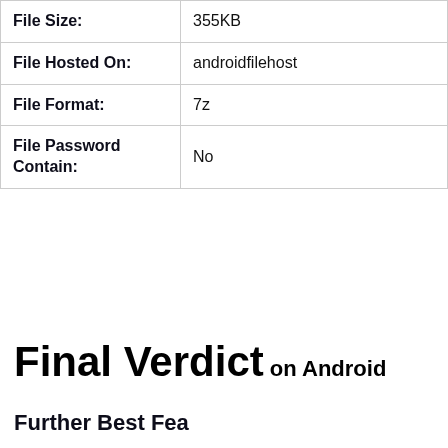| File Size: | 355KB |
| File Hosted On: | androidfilehost |
| File Format: | 7z |
| File Password Contain: | No |
Final Verdict on Android
Further Best Features